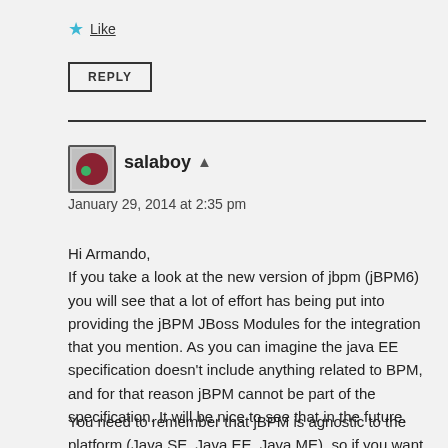Like
REPLY
salaboy
January 29, 2014 at 2:35 pm
Hi Armando,
If you take a look at the new version of jbpm (jBPM6) you will see that a lot of effort has being put into providing the jBPM JBoss Modules for the integration that you mention. As you can imagine the java EE specification doesn't include anything related to BPM, and for that reason jBPM cannot be part of the specification. It will be nice to see that in the future.
You need to remember that jBPM is agnostic to the platform (Java SE, Java EE, Java ME), so if you want to